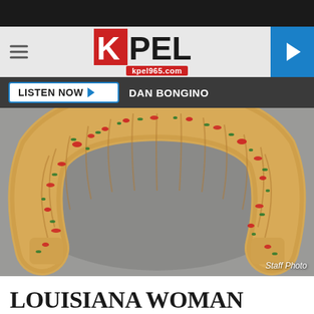KPEL kpel965.com
LISTEN NOW ▶   DAN BONGINO
[Figure (photo): A horseshoe-shaped crescent roll ring topped with red peppers and green herbs on a baking sheet. Staff Photo credit shown in bottom right.]
Staff Photo
LOUISIANA WOMAN CREATES